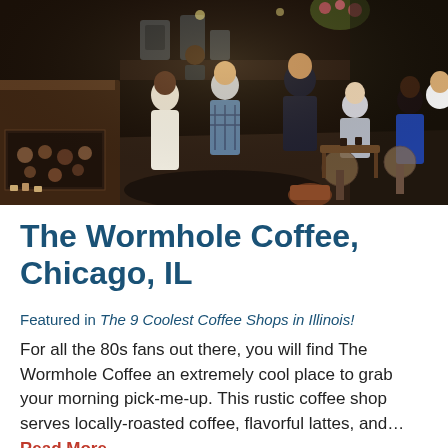[Figure (photo): Interior of The Wormhole Coffee shop in Chicago, showing customers at counter and tables, baristas working, warm rustic wood tones with dark walls, overhead view angle showing several patrons and staff]
The Wormhole Coffee, Chicago, IL
Featured in The 9 Coolest Coffee Shops in Illinois!
For all the 80s fans out there, you will find The Wormhole Coffee an extremely cool place to grab your morning pick-me-up. This rustic coffee shop serves locally-roasted coffee, flavorful lattes, and… Read More